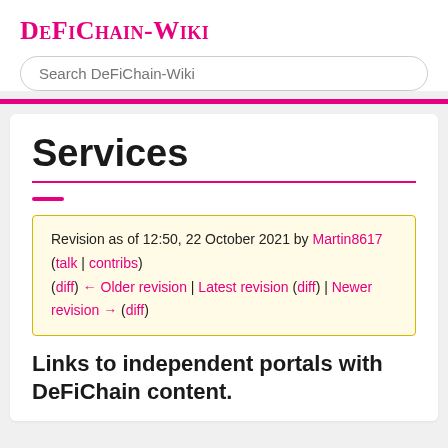DeFiChain-Wiki
Search DeFiChain-Wiki
Services
Revision as of 12:50, 22 October 2021 by Martin8617 (talk | contribs)
(diff) ← Older revision | Latest revision (diff) | Newer revision → (diff)
Links to independent portals with DeFiChain content.